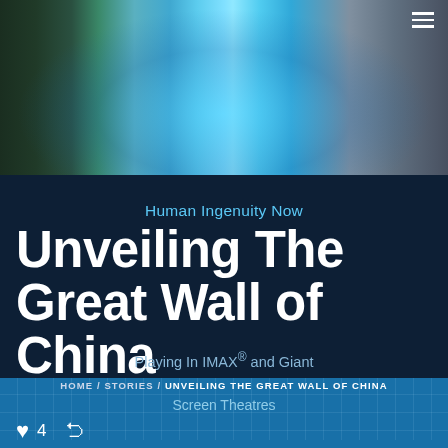[Figure (photo): Website header banner showing a composite image with glowing blue digital globe/radar in center, astronaut figure, cityscape with tall buildings on left, mountains and bridge on right, with dark teal and blue tones]
Human Ingenuity Now
Unveiling The Great Wall of China
Playing In IMAX® and Giant
HOME / STORIES / UNVEILING THE GREAT WALL OF CHINA
Screen Theatres
♥ 4  < (share icon)
Engineer Steve Burrows is drawn to exploring some of the most unique and mysterious engineering feats of ancient times. In the film, he takes viewers on a trek over the peaks and hills of China's